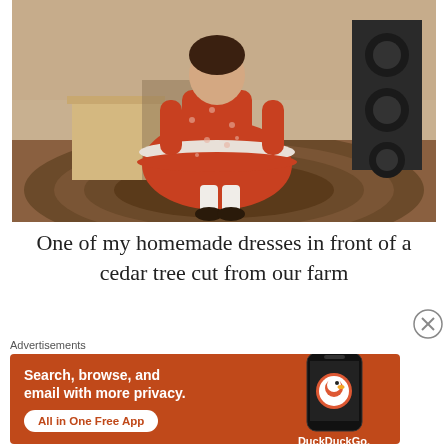[Figure (photo): Vintage photograph of a young child wearing a red floral homemade dress with white lace trim and white socks, standing in front of what appears to be a cedar tree, with a braided rug and furniture visible in the background.]
One of my homemade dresses in front of a cedar tree cut from our farm
Advertisements
[Figure (illustration): DuckDuckGo advertisement banner with orange background. Text reads: 'Search, browse, and email with more privacy. All in One Free App'. Shows a smartphone with DuckDuckGo logo and branding.]